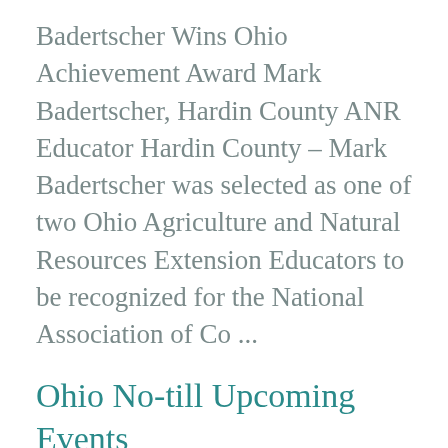Badertscher Wins Ohio Achievement Award Mark Badertscher, Hardin County ANR Educator Hardin County – Mark Badertscher was selected as one of two Ohio Agriculture and Natural Resources Extension Educators to be recognized for the National Association of Co ...
Ohio No-till Upcoming Events
https://agcrops.osu.edu/newsletter/corn-newsletter/2022-27/ohio-no-till-upcoming-events
Ohio No-till Events on August 18, 20 and 23 The Ohio No-till Council is providing three opportunities to learn the latest